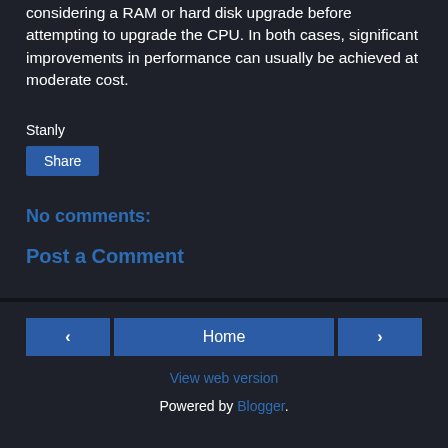considering a RAM or hard disk upgrade before attempting to upgrade the CPU. In both cases, significant improvements in performance can usually be achieved at moderate cost.
Stanly
Share
No comments:
Post a Comment
‹
Home
›
View web version
Powered by Blogger.